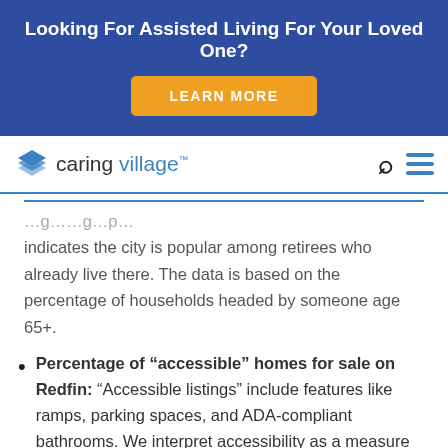Looking For Assisted Living For Your Loved One?
LEARN MORE
[Figure (logo): Caring Village logo with stylized diamond/layers icon and text 'caring village']
indicates the city is popular among retirees who already live there. The data is based on the percentage of households headed by someone age 65+.
Percentage of “accessible” homes for sale on Redfin: “Accessible listings” include features like ramps, parking spaces, and ADA-compliant bathrooms. We interpret accessibility as a measure of retiree-